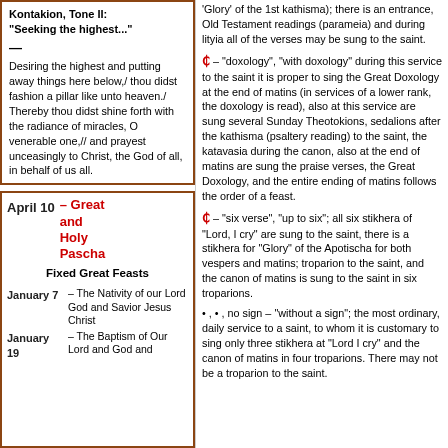Kontakion, Tone II:
"Seeking the highest..."
Desiring the highest and putting away things here below,/ thou didst fashion a pillar like unto heaven./ Thereby thou didst shine forth with the radiance of miracles, O venerable one,// and prayest unceasingly to Christ, the God of all, in behalf of us all.
April 10 – Great and Holy Pascha
Fixed Great Feasts
January 7 – The Nativity of our Lord God and Savior Jesus Christ
January 19 – The Baptism of Our Lord and God and
'Glory' of the 1st kathisma); there is an entrance, Old Testament readings (parameia) and during lityia all of the verses may be sung to the saint.
Ɛ – "doxology", "with doxology" during this service to the saint it is proper to sing the Great Doxology at the end of matins (in services of a lower rank, the doxology is read), also at this service are sung several Sunday Theotokions, sedalions after the kathisma (psaltery reading) to the saint, the katavasia during the canon, also at the end of matins are sung the praise verses, the Great Doxology, and the entire ending of matins follows the order of a feast.
Ɛ – "six verse", "up to six"; all six stikhera of "Lord, I cry" are sung to the saint, there is a stikhera for "Glory" of the Apotischa for both vespers and matins; troparion to the saint, and the canon of matins is sung to the saint in six troparions.
• , • , no sign – "without a sign"; the most ordinary, daily service to a saint, to whom it is customary to sing only three stikhera at "Lord I cry" and the canon of matins in four troparions. There may not be a troparion to the saint.